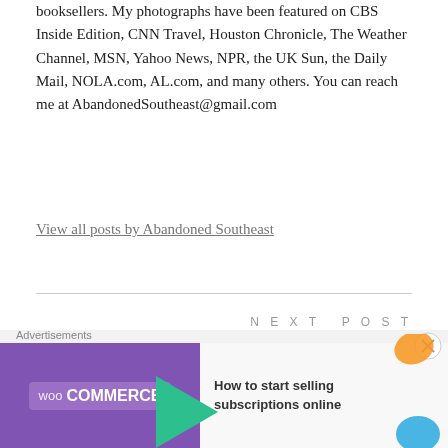booksellers. My photographs have been featured on CBS Inside Edition, CNN Travel, Houston Chronicle, The Weather Channel, MSN, Yahoo News, NPR, the UK Sun, the Daily Mail, NOLA.com, AL.com, and many others. You can reach me at AbandonedSoutheast@gmail.com
View all posts by Abandoned Southeast
NEXT POST
Money Pit →
73 COMMENTS
[Figure (screenshot): WooCommerce advertisement banner with purple background, green arrow, and text 'How to start selling subscriptions online']